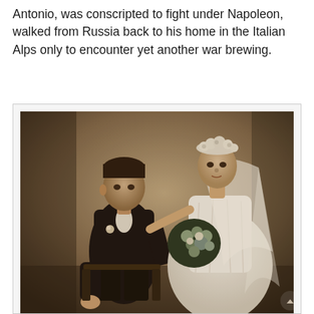Antonio, was conscripted to fight under Napoleon, walked from Russia back to his home in the Italian Alps only to encounter yet another war brewing.
[Figure (photo): Sepia-toned vintage wedding photograph showing a bride and groom. The groom is seated on the left wearing a dark suit with a boutonniere. The bride stands on the right wearing a white wedding dress and veil with floral headpiece, holding a large bouquet of flowers. Her hand rests on the groom's shoulder.]